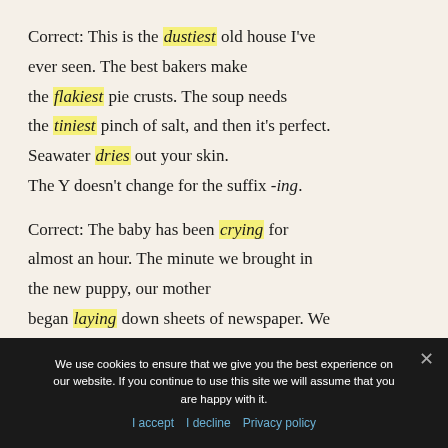Correct: This is the dustiest old house I've ever seen. The best bakers make the flakiest pie crusts. The soup needs the tiniest pinch of salt, and then it's perfect. Seawater dries out your skin. The Y doesn't change for the suffix -ing.
Correct: The baby has been crying for almost an hour. The minute we brought in the new puppy, our mother began laying down sheets of newspaper. We should spend some time tidying before the
We use cookies to ensure that we give you the best experience on our website. If you continue to use this site we will assume that you are happy with it. I accept  I decline  Privacy policy